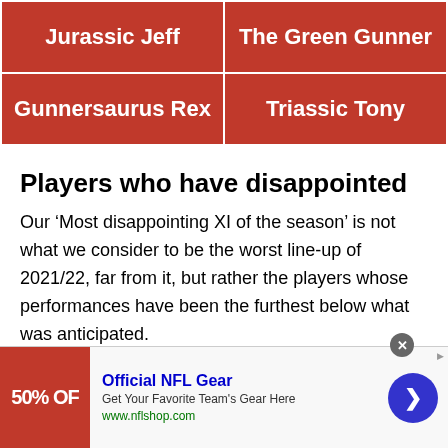| Jurassic Jeff | The Green Gunner |
| Gunnersaurus Rex | Triassic Tony |
Players who have disappointed
Our ‘Most disappointing XI of the season’ is not what we consider to be the worst line-up of 2021/22, far from it, but rather the players whose performances have been the furthest below what was anticipated.
[Figure (other): Advertisement banner for Official NFL Gear with red image showing '50% OFF', blue title text, tagline 'Get Your Favorite Team's Gear Here', URL www.nflshop.com, and a blue circular arrow button on the right.]